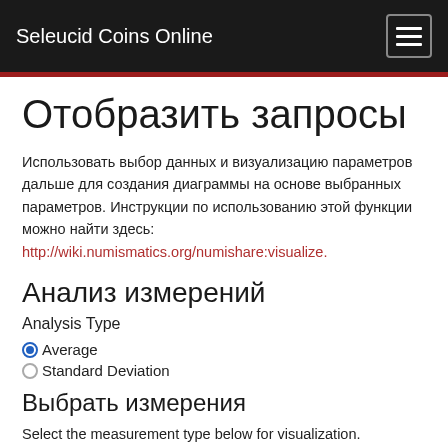Seleucid Coins Online
Отобразить запросы
Использовать выбор данных и визуализацию параметров дальше для создания диаграммы на основе выбранных параметров. Инструкции по использованию этой функции можно найти здесь: http://wiki.numismatics.org/numishare:visualize.
Анализ измерений
Analysis Type
Average
Standard Deviation
Выбрать измерения
Select the measurement type below for visualization. Measurement queries are executed across all coins harvested in Nomisma.org, regardless connection to coin type URIs.